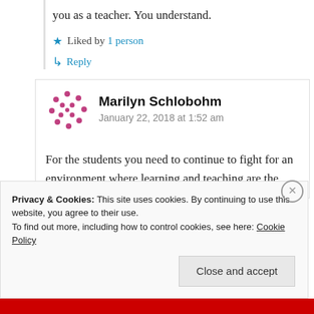you as a teacher. You understand.
Liked by 1 person
Reply
Marilyn Schlobohm
January 22, 2018 at 1:52 am
For the students you need to continue to fight for an environment where learning and teaching are the
Privacy & Cookies: This site uses cookies. By continuing to use this website, you agree to their use.
To find out more, including how to control cookies, see here: Cookie Policy
Close and accept